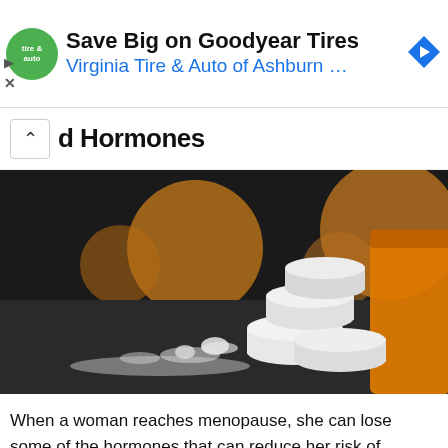[Figure (screenshot): Advertisement banner for Virginia Tire & Auto of Ashburn featuring Goodyear Tires savings offer, with green circular logo and blue navigation diamond icon]
d Hormones
[Figure (photo): Close-up photo of white pills/tablets spilled from an orange prescription bottle on a dark surface, with powder scattered nearby and bokeh orange circles in background]
When a woman reaches menopause, she can lose some of the hormones that can reduce her risk of osteoporosis or heart disease. While estrogen or progestin can help to replace those